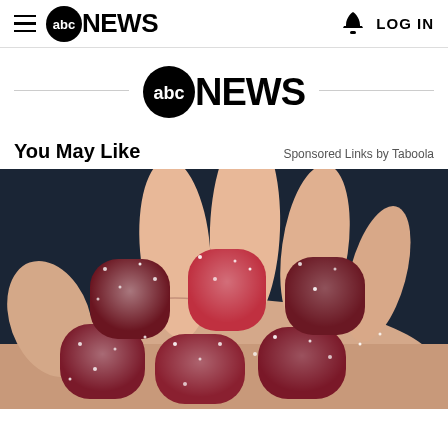≡ abc NEWS   🔔 LOG IN
[Figure (logo): ABC News logo centered with horizontal lines on either side]
You May Like   Sponsored Links by Taboola
[Figure (photo): A hand holding several sugary red gummy candies covered in sugar crystals, close-up photo on dark background]